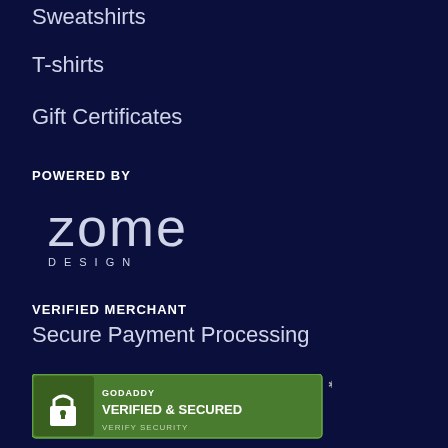Sweatshirts
T-shirts
Gift Certificates
POWERED BY
[Figure (logo): Zome Design logo: large white text 'zome' with 'DESIGN' in spaced letters below]
VERIFIED MERCHANT
Secure Payment Processing
[Figure (logo): GoDaddy Verified & Secured badge with lock icon and 'VERIFY SECURITY' text]